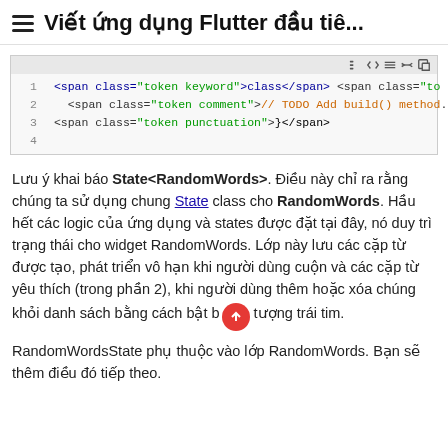≡ Viết ứng dụng Flutter đầu tiê...
[Figure (screenshot): Code block showing HTML/span elements with syntax highlighting. Line 1: <span class="token keyword">class</span> <span class="to... Line 2: <span class="token comment">// TODO Add build() method... Line 3: <span class="token punctuation">}</span> Line 4: empty]
Lưu ý khai báo State<RandomWords>. Điều này chỉ ra rằng chúng ta sử dụng chung State class cho RandomWords. Hầu hết các logic của ứng dụng và states được đặt tại đây, nó duy trì trạng thái cho widget RandomWords. Lớp này lưu các cặp từ được tạo, phát triển vô hạn khi người dùng cuộn và các cặp từ yêu thích (trong phần 2), khi người dùng thêm hoặc xóa chúng khỏi danh sách bằng cách bật biểu tượng trái tim.
RandomWordsState phụ thuộc vào lớp RandomWords. Bạn sẽ thêm điều đó tiếp theo.